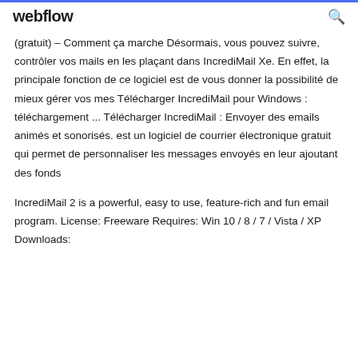webflow
(gratuit) – Comment ça marche Désormais, vous pouvez suivre, contrôler vos mails en les plaçant dans IncrediMail Xe. En effet, la principale fonction de ce logiciel est de vous donner la possibilité de mieux gérer vos mes Télécharger IncrediMail pour Windows : téléchargement ... Télécharger IncrediMail : Envoyer des emails animés et sonorisés. est un logiciel de courrier électronique gratuit qui permet de personnaliser les messages envoyés en leur ajoutant des fonds
IncrediMail 2 is a powerful, easy to use, feature-rich and fun email program. License: Freeware Requires: Win 10 / 8 / 7 / Vista / XP Downloads: